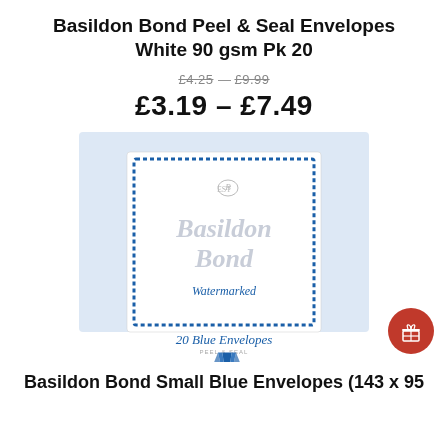Basildon Bond Peel & Seal Envelopes White 90 gsm Pk 20
£4.25 — £9.99
£3.19 – £7.49
[Figure (photo): Product image of Basildon Bond envelope packaging showing 'Basildon Bond Watermarked 20 Blue Envelopes' with a fountain pen nib illustration]
Basildon Bond Small Blue Envelopes (143 x 95